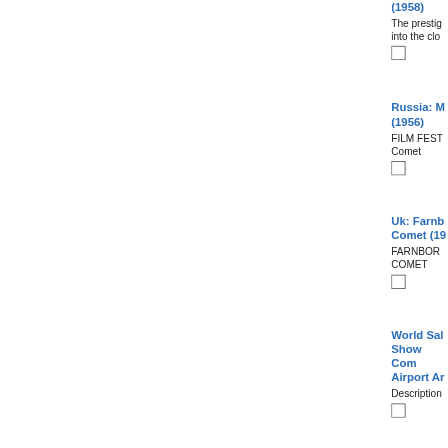(1958)
The prestig... into the clo...
Russia: M... (1956)
FILM FEST... Comet
Uk: Farnb... Comet (19...
FARNBOR... COMET
World Sal... Show Com... Airport Ar...
Description...